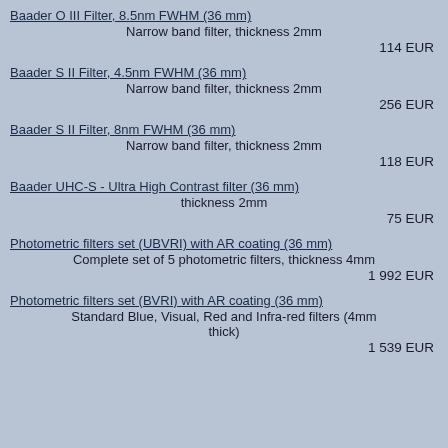Baader O III Filter, 8.5nm FWHM (36 mm)
Narrow band filter, thickness 2mm
114 EUR
Baader S II Filter, 4.5nm FWHM (36 mm)
Narrow band filter, thickness 2mm
256 EUR
Baader S II Filter, 8nm FWHM (36 mm)
Narrow band filter, thickness 2mm
118 EUR
Baader UHC-S - Ultra High Contrast filter (36 mm)
thickness 2mm
75 EUR
Photometric filters set (UBVRI) with AR coating (36 mm)
Complete set of 5 photometric filters, thickness 4mm
1 992 EUR
Photometric filters set (BVRI) with AR coating (36 mm)
Standard Blue, Visual, Red and Infra-red filters (4mm thick)
1 539 EUR